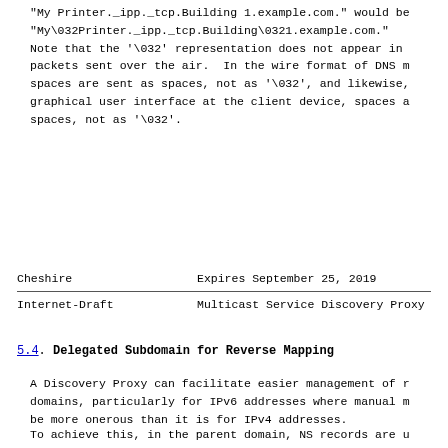"My Printer._ipp._tcp.Building 1.example.com." would be
"My\032Printer._ipp._tcp.Building\0321.example.com."
Note that the '\032' representation does not appear in
packets sent over the air.  In the wire format of DNS m
spaces are sent as spaces, not as '\032', and likewise,
graphical user interface at the client device, spaces a
spaces, not as '\032'.
Cheshire                    Expires September 25, 2019
Internet-Draft      Multicast Service Discovery Proxy
5.4.  Delegated Subdomain for Reverse Mapping
A Discovery Proxy can facilitate easier management of r
domains, particularly for IPv6 addresses where manual m
be more onerous than it is for IPv4 addresses.
To achieve this, in the parent domain, NS records are u